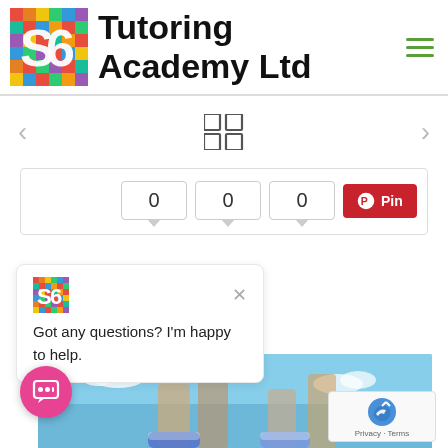[Figure (logo): S6 Tutoring Academy Ltd logo with colorful mosaic S6 icon and bold black text]
[Figure (other): Hamburger menu icon with three green horizontal lines]
[Figure (other): Navigation arrows left and right with a 2x2 grid icon in center]
[Figure (other): Share bar with three count boxes showing 0, 0, 0 and a Pinterest Pin button]
[Figure (other): Chat popup with S6 logo, close X, and text: Got any questions? I'm happy to help.]
Got any questions? I'm happy to help.
[Figure (photo): Photo of person's legs in sneakers jumping outdoors under blue sky]
[Figure (other): reCAPTCHA widget with Privacy and Terms text]